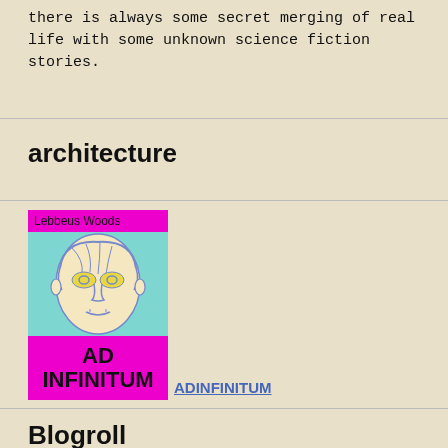there is always some secret merging of real life with some unknown science fiction stories.
architecture
[Figure (illustration): Book cover for 'AD INFINITUM' by Lebbeus Woods, featuring a drawn portrait of a face on a cyan/teal background, with magenta/pink top and bottom bands. Top band reads 'Lebbeus Woods', bottom band reads 'AD INFINITUM' in large black bold text.]
ADINFINITUM
Blogroll